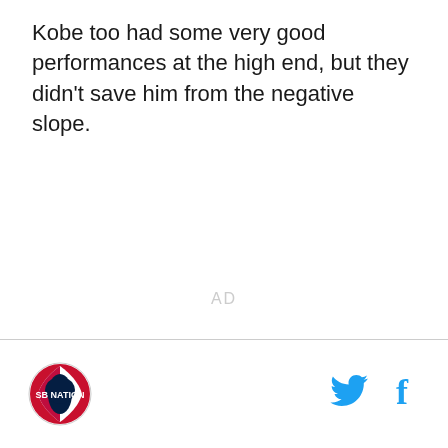Kobe too had some very good performances at the high end, but they didn't save him from the negative slope.
AD
[Figure (logo): Sports league circular logo with red, white and blue colors]
[Figure (logo): Twitter bird icon in cyan/blue]
[Figure (logo): Facebook 'f' icon in cyan/blue]